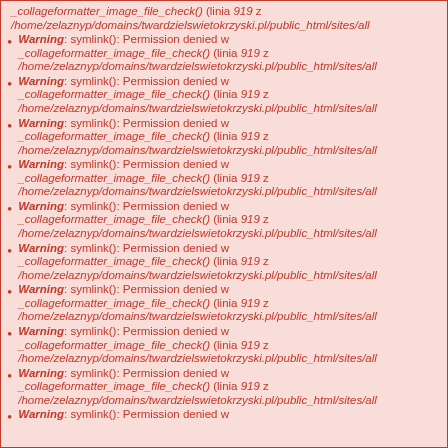_collageformatter_image_file_check() (linia 919 z /home/zelaznyp/domains/twardzielswietokrzyski.pl/public_html/sites/all
Warning: symlink(): Permission denied w _collageformatter_image_file_check() (linia 919 z /home/zelaznyp/domains/twardzielswietokrzyski.pl/public_html/sites/all
Warning: symlink(): Permission denied w _collageformatter_image_file_check() (linia 919 z /home/zelaznyp/domains/twardzielswietokrzyski.pl/public_html/sites/all
Warning: symlink(): Permission denied w _collageformatter_image_file_check() (linia 919 z /home/zelaznyp/domains/twardzielswietokrzyski.pl/public_html/sites/all
Warning: symlink(): Permission denied w _collageformatter_image_file_check() (linia 919 z /home/zelaznyp/domains/twardzielswietokrzyski.pl/public_html/sites/all
Warning: symlink(): Permission denied w _collageformatter_image_file_check() (linia 919 z /home/zelaznyp/domains/twardzielswietokrzyski.pl/public_html/sites/all
Warning: symlink(): Permission denied w _collageformatter_image_file_check() (linia 919 z /home/zelaznyp/domains/twardzielswietokrzyski.pl/public_html/sites/all
Warning: symlink(): Permission denied w _collageformatter_image_file_check() (linia 919 z /home/zelaznyp/domains/twardzielswietokrzyski.pl/public_html/sites/all
Warning: symlink(): Permission denied w _collageformatter_image_file_check() (linia 919 z /home/zelaznyp/domains/twardzielswietokrzyski.pl/public_html/sites/all
Warning: symlink(): Permission denied w